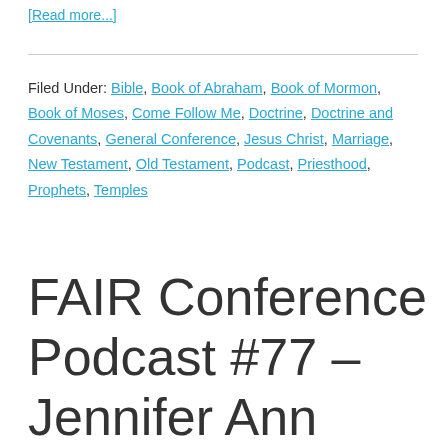[Read more...]
Filed Under: Bible, Book of Abraham, Book of Mormon, Book of Moses, Come Follow Me, Doctrine, Doctrine and Covenants, General Conference, Jesus Christ, Marriage, New Testament, Old Testament, Podcast, Priesthood, Prophets, Temples
FAIR Conference Podcast #77 – Jennifer Ann